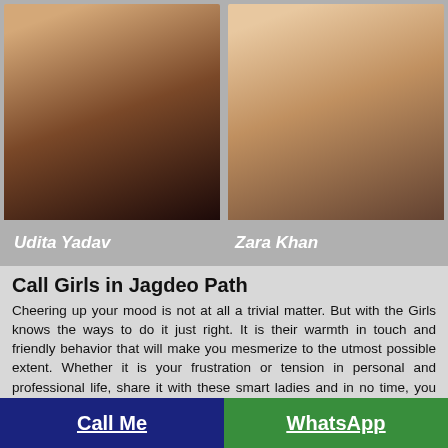[Figure (photo): Two photos side by side: left shows a woman named Udita Yadav, right shows a woman named Zara Khan]
Udita Yadav
Zara Khan
Call Girls in Jagdeo Path
Cheering up your mood is not at all a trivial matter. But with the Girls knows the ways to do it just right. It is their warmth in touch and friendly behavior that will make you mesmerize to the utmost possible extent. Whether it is your frustration or tension in personal and professional life, share it with these smart ladies and in no time, you will get a solution that is entirely worth your time. The Call Girls in Jagdeo
Call Me    WhatsApp